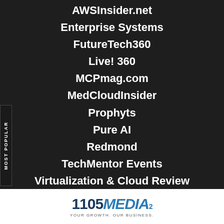AWSInsider.net
Enterprise Systems
FutureTech360
Live! 360
MCPmag.com
MedCloudInsider
Prophyts
Pure AI
Redmond
TechMentor Events
Virtualization & Cloud Review
Visual Studio Magazine
Visual Studio Live!
[Figure (logo): 1105 MEDIA logo with tagline YOUR GROWTH. OUR BUSINESS.]